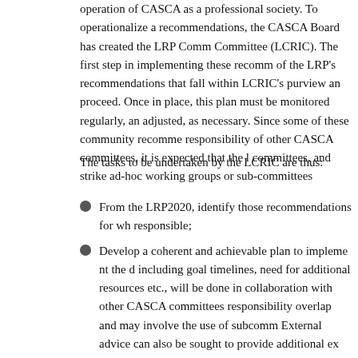operation of CASCA as a professional society. To operationalize a recommendations, the CASCA Board has created the LRP Comm Committee (LCRIC). The first step in implementing these recomm of the LRP's recommendations that fall within LCRIC's purview an proceed. Once in place, this plan must be monitored regularly, an adjusted, as necessary. Since some of these community recomme responsibility of other CASCA committees, it is expected that the committees, and strike ad-hoc working groups or sub-committees
The tasks to be undertaken by the LCRIC are thus:
From the LRP2020, identify those recommendations for wh responsible;
Develop a coherent and achievable plan to implement the d including goal timelines, need for additional resources etc., will be done in collaboration with other CASCA committees responsibility overlap and may involve the use of subcomm External advice can also be sought to provide additional ex
Once established, work closely with the CASCA Board to h
Be prepared to respond to queries from the CASCA Board